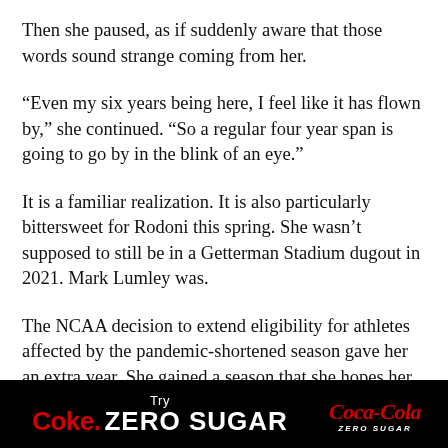Then she paused, as if suddenly aware that those words sound strange coming from her.
“Even my six years being here, I feel like it has flown by,” she continued. “So a regular four year span is going to go by in the blink of an eye.”
It is a familiar realization. It is also particularly bittersweet for Rodoni this spring. She wasn’t supposed to still be in a Getterman Stadium dugout in 2021. Mark Lumley was.
The NCAA decision to extend eligibility for athletes affected by the pandemic-shortened season gave her an extra year. She gained a season that she hopes her accumulated wisdom and perspective will allow her to enjoy to its fullest. But it arrives only after she lost a friend.
[Figure (other): Advertisement banner: Try Coke Zero Sugar with Coca-Cola Zero Sugar logo on black background]